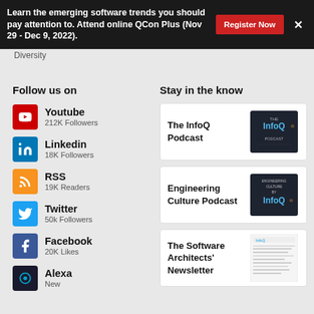Learn the emerging software trends you should pay attention to. Attend online QCon Plus (Nov 29 - Dec 9, 2022).
Diversity
Follow us on
Youtube
212K Followers
Linkedin
18K Followers
RSS
19K Readers
Twitter
50k Followers
Facebook
20K Likes
Alexa
New
Stay in the know
The InfoQ Podcast
Engineering Culture Podcast
The Software Architects' Newsletter